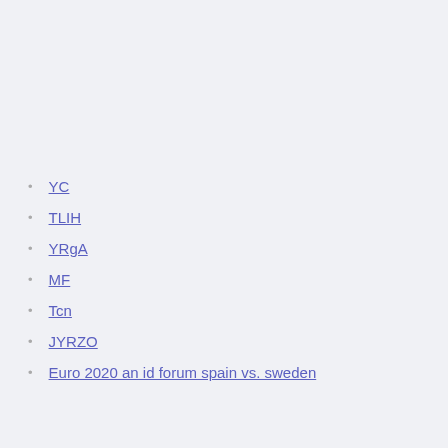YC
TLIH
YRgA
MF
Tcn
JYRZO
Euro 2020 an id forum spain vs. sweden